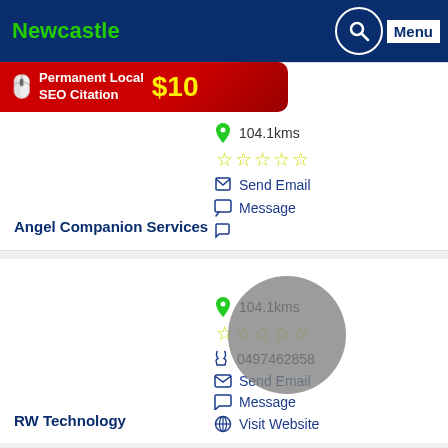Newcastle
[Figure (screenshot): Ad banner: Permanent Local SEO Citation $10]
104.1kms
★★★★★ (5 stars empty)
0412275216
Send Email
Message
Angel Companion Services
104.1kms
★★★★★ (5 stars empty)
0497462858
Send Email
Message
Visit Website
RW Technology
104.1kms